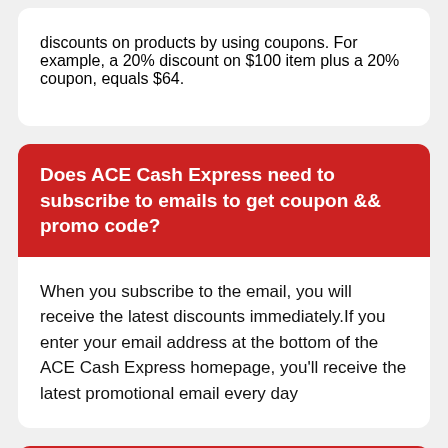discounts on products by using coupons. For example, a 20% discount on $100 item plus a 20% coupon, equals $64.
Does ACE Cash Express need to subscribe to emails to get coupon && promo code?
When you subscribe to the email, you will receive the latest discounts immediately.If you enter your email address at the bottom of the ACE Cash Express homepage, you'll receive the latest promotional email every day
What is ACE Cash Express coupon && promo code?